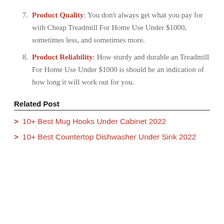7. Product Quality: You don't always get what you pay for with Cheap Treadmill For Home Use Under $1000, sometimes less, and sometimes more.
8. Product Reliability: How sturdy and durable an Treadmill For Home Use Under $1000 is should be an indication of how long it will work out for you.
Related Post
> 10+ Best Mug Hooks Under Cabinet 2022
> 10+ Best Countertop Dishwasher Under Sink 2022